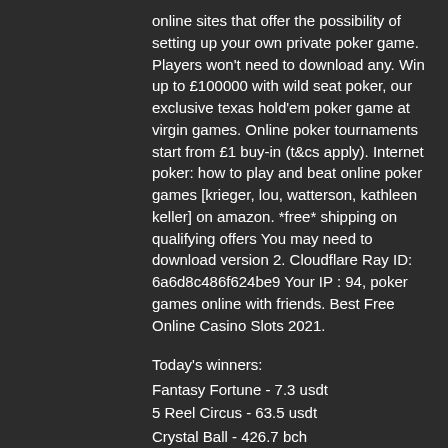online sites that offer the possibility of setting up your own private poker game. Players won't need to download any. Win up to £100000 with wild seat poker, our exclusive texas hold'em poker game at virgin games. Online poker tournaments start from £1 buy-in (t&cs apply). Internet poker: how to play and beat online poker games [krieger, lou, watterson, kathleen keller] on amazon. *free* shipping on qualifying offers You may need to download version 2. Cloudflare Ray ID: 6a6d8c486f624be9 Your IP : 94, poker games online with friends. Best Free Online Casino Slots 2021.
Today's winners:
Fantasy Fortune - 7.3 usdt
5 Reel Circus - 63.5 usdt
Crystal Ball - 426.7 bch
Foxin Wins Again - 224.2 eth
Dolphin's Island - 682.6 usdt